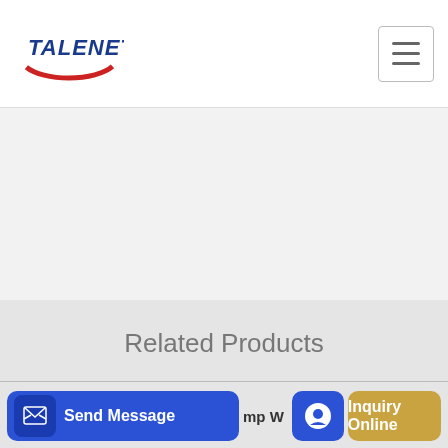TALENET
[Figure (screenshot): Light textured background area below header, appears to be a product page content area]
Related Products
Concrete Mixing Plant Concrete Crusher For Sale-Crusher
China Mobile Asphalt Batch Plant Mobile Asphalt Batch
Send Message | mp W | Inquiry Online